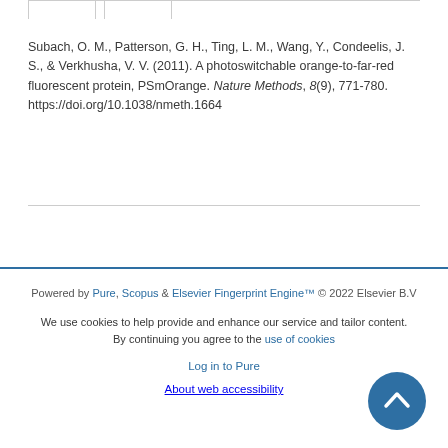Subach, O. M., Patterson, G. H., Ting, L. M., Wang, Y., Condeelis, J. S., & Verkhusha, V. V. (2011). A photoswitchable orange-to-far-red fluorescent protein, PSmOrange. Nature Methods, 8(9), 771-780. https://doi.org/10.1038/nmeth.1664
Powered by Pure, Scopus & Elsevier Fingerprint Engine™ © 2022 Elsevier B.V

We use cookies to help provide and enhance our service and tailor content. By continuing you agree to the use of cookies

Log in to Pure

About web accessibility